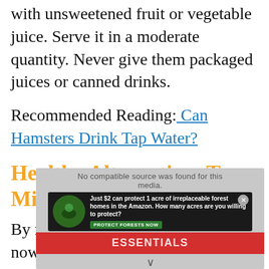with unsweetened fruit or vegetable juice. Serve it in a moderate quantity. Never give them packaged juices or canned drinks.
Recommended Reading: Can Hamsters Drink Tap Water?
Healthy Alternatives To Milk
By now, you must have learned by now that milk should be avoided as much as possible.
[Figure (screenshot): An embedded video player overlay showing 'No compatible source was found for this media.' with an advertisement banner below it reading 'Just $2 can protect 1 acre of irreplaceable forest homes in the Amazon. How many acres are you willing to protect?' with a Protect Forests Now button, and a red Essentials bar at the bottom.]